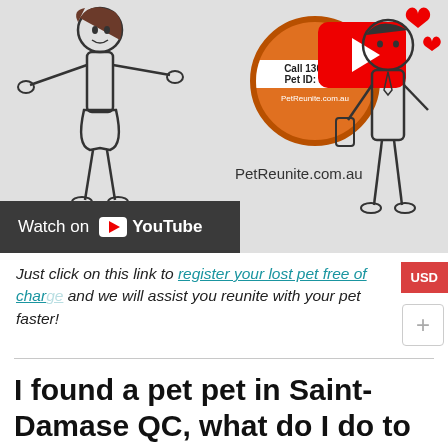[Figure (screenshot): YouTube thumbnail image showing a YouTube video preview for PetReunite.com.au. Contains a cartoon woman with arms open on the left, an orange circular pet ID tag in the center showing 'Call 1300 7...', 'Pet ID: 116...', and 'PetReunite.com.au', a large YouTube play button overlay on the right side, red hearts and a cartoon man with a phone on the right edge. The URL PetReunite.com.au is shown in the center. A dark grey 'Watch on YouTube' bar is at the bottom left.]
Just click on this link to register your lost pet free of charge and we will assist you reunite with your pet faster!
I found a pet pet in Saint-Damase QC, what do I do to reunite them with their owner?